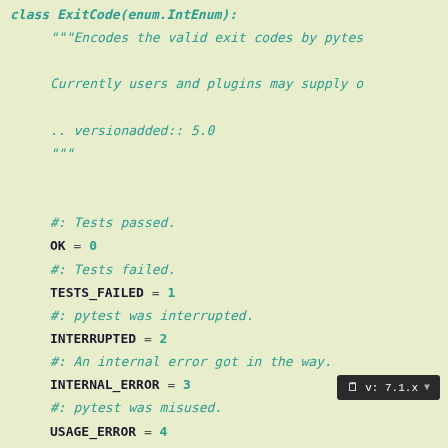class ExitCode(enum.IntEnum):
    """Encodes the valid exit codes by pytes

    Currently users and plugins may supply o

    .. versionadded:: 5.0
    """

    #: Tests passed.
    OK = 0
    #: Tests failed.
    TESTS_FAILED = 1
    #: pytest was interrupted.
    INTERRUPTED = 2
    #: An internal error got in the way.
    INTERNAL_ERROR = 3
    #: pytest was misused.
    USAGE_ERROR = 4
    #: pytest couldn't find tests.
    NO_TESTS_COLLECTED = 5
v: 7.1.x